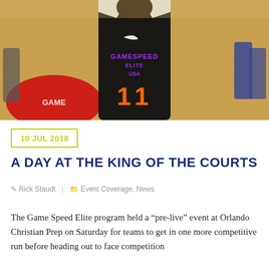[Figure (photo): Basketball player wearing a black Game Speed Elite USA Nike jersey with number 11 in orange, standing on a basketball court with a red circle logo visible on the floor. Other players visible in background.]
10 JUL 2018
A DAY AT THE KING OF THE COURTS
Rick Staudt | Event Coverage, News
The Game Speed Elite program held a “pre-live” event at Orlando Christian Prep on Saturday for teams to get in one more competitive run before heading out to face competition